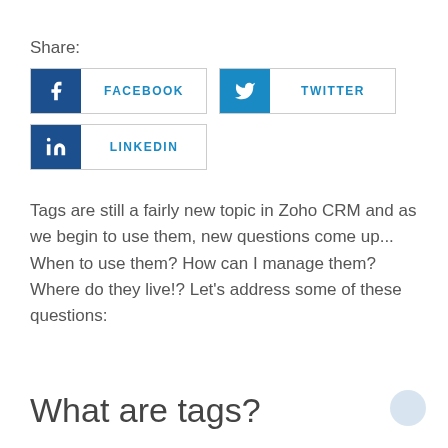Share:
[Figure (infographic): Share buttons for Facebook, Twitter, and LinkedIn social media platforms]
Tags are still a fairly new topic in Zoho CRM and as we begin to use them, new questions come up... When to use them? How can I manage them? Where do they live!? Let's address some of these questions:
What are tags?